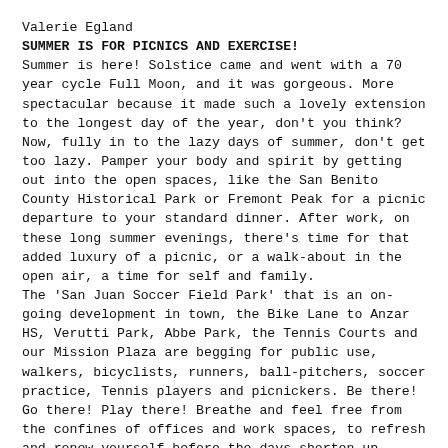Valerie Egland
SUMMER IS FOR PICNICS AND EXERCISE!
Summer is here! Solstice came and went with a 70 year cycle Full Moon, and it was gorgeous. More spectacular because it made such a lovely extension to the longest day of the year, don't you think?
Now, fully in to the lazy days of summer, don't get too lazy. Pamper your body and spirit by getting out into the open spaces, like the San Benito County Historical Park or Fremont Peak for a picnic departure to your standard dinner. After work, on these long summer evenings, there's time for that added luxury of a picnic, or a walk-about in the open air, a time for self and family.
The 'San Juan Soccer Field Park' that is an on-going development in town, the Bike Lane to Anzar HS, Verutti Park, Abbe Park, the Tennis Courts and our Mission Plaza are begging for public use, walkers, bicyclists, runners, ball-pitchers, soccer practice, Tennis players and picnickers. Be there! Go there! Play there! Breathe and feel free from the confines of offices and work spaces, to refresh and renew yourself before the days shorten up, chill down and call our students back to school and homework.